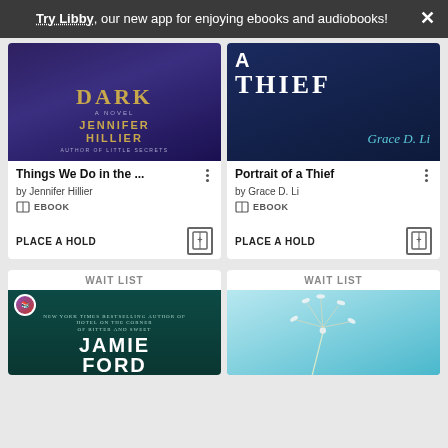Try Libby, our new app for enjoying ebooks and audiobooks!
[Figure (screenshot): Book cover for 'Things We Do in the...' by Jennifer Hillier - dark purple background with golden author name]
Things We Do in the ...
by Jennifer Hillier
EBOOK
PLACE A HOLD
[Figure (screenshot): Book cover for 'Portrait of a Thief' by Grace D. Li - dark blue background with large white text]
Portrait of a Thief
by Grace D. Li
EBOOK
PLACE A HOLD
WAIT LIST
[Figure (screenshot): Book cover for Jamie Ford novel - dark teal background with large white author name]
WAIT LIST
[Figure (photo): Dandelion seed head against a light blue sky background]